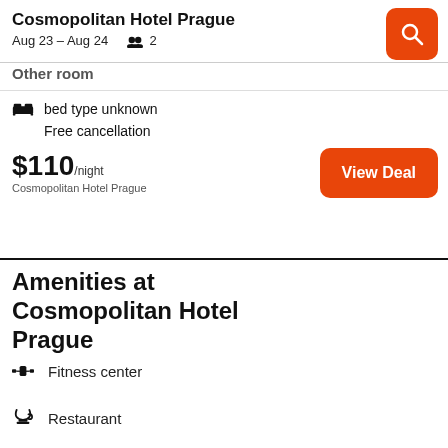Cosmopolitan Hotel Prague
Aug 23 – Aug 24  2
Other room
bed type unknown
Free cancellation
$110/night
Cosmopolitan Hotel Prague
View Deal
Amenities at Cosmopolitan Hotel Prague
Fitness center
Restaurant